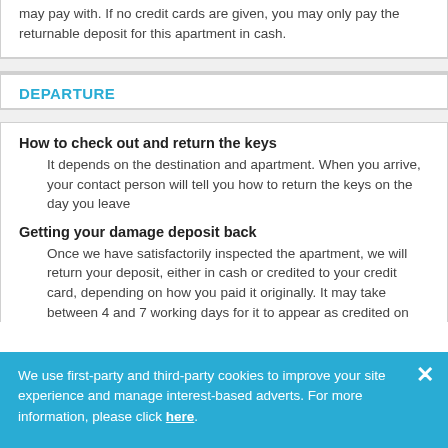may pay with. If no credit cards are given, you may only pay the returnable deposit for this apartment in cash.
DEPARTURE
How to check out and return the keys
It depends on the destination and apartment. When you arrive, your contact person will tell you how to return the keys on the day you leave
Getting your damage deposit back
Once we have satisfactorily inspected the apartment, we will return your deposit, either in cash or credited to your credit card, depending on how you paid it originally. It may take between 4 and 7 working days for it to appear as credited on
We use first-party and third-party cookies to improve your site experience and manage interest-based adverts. For more information, please click here.